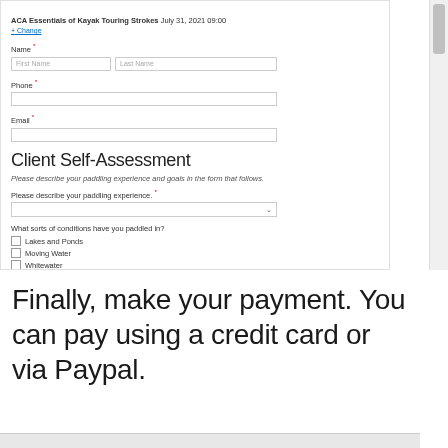ACA Essentials of Kayak Touring Strokes July 31, 2021 09:00
+ Change
Name *
Phone *
Email *
Client Self-Assessment
Please describe your paddling experience and goals in the form that follows.
Please describe your paddling experience. *
What sorts of conditions have you paddled in?
Lakes and Ponds
Moving Water
Whitewater
Waves to 1'
Waves to 3'
Big Sea
Finally, make your payment. You can pay using a credit card or via Paypal.